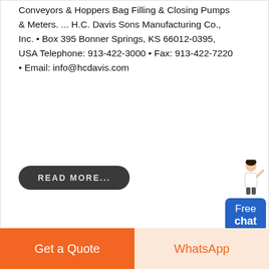Conveyors & Hoppers Bag Filling & Closing Pumps & Meters. ... H.C. Davis Sons Manufacturing Co., Inc. • Box 395 Bonner Springs, KS 66012-0395, USA Telephone: 913-422-3000 • Fax: 913-422-7220 • Email: info@hcdavis.com
READ MORE...
[Figure (illustration): Free chat widget with a standing female figure and a blue box labeled Free chat]
[Figure (photo): Industrial machinery — large cone crusher or similar heavy equipment with red accents inside a factory building]
Get a Quote
WhatsApp